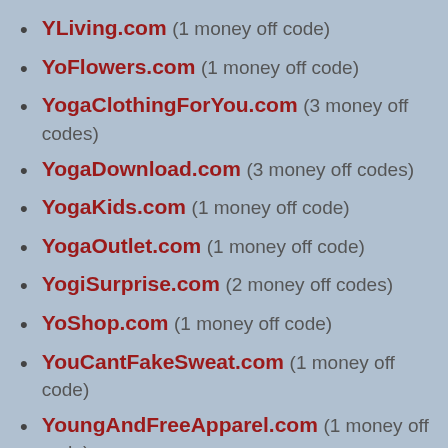YLiving.com (1 money off code)
YoFlowers.com (1 money off code)
YogaClothingForYou.com (3 money off codes)
YogaDownload.com (3 money off codes)
YogaKids.com (1 money off code)
YogaOutlet.com (1 money off code)
YogiSurprise.com (2 money off codes)
YoShop.com (1 money off code)
YouCantFakeSweat.com (1 money off code)
YoungAndFreeApparel.com (1 money off code)
YoungAndReckless.com (2 money off